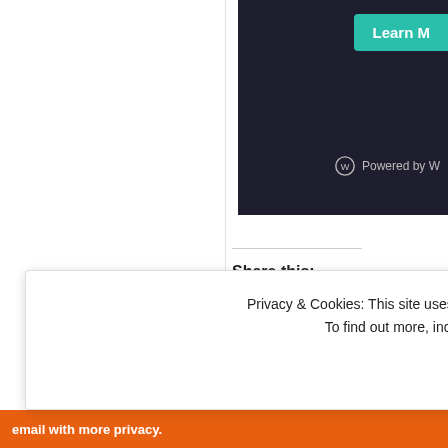[Figure (screenshot): Dark banner top-right with 'Learn M...' teal button and WordPress 'Powered by W...' branding]
Share this:
[Figure (infographic): Row of social share icon circles: email (grey), Facebook (blue), LinkedIn (blue), Twitter (light blue), Reddit (light grey-blue), Tumblr (dark blue)]
Like
Be the first to like this.
Tagged   advice column , christmas , co... humor , laugh , poppy , present , sarcastic ,
Privacy & Cookies: This site uses cookies. By continuing to use this website, you agree to their use.
To find out more, including how to control cookies, see here: Cookie Policy
Close and accept
email with more privacy.